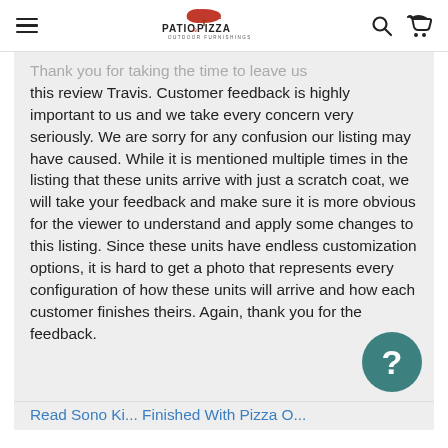Patio & Pizza Outdoor Furnishings
Thank you for taking the time to leave us this review Travis. Customer feedback is highly important to us and we take every concern very seriously. We are sorry for any confusion our listing may have caused. While it is mentioned multiple times in the listing that these units arrive with just a scratch coat, we will take your feedback and make sure it is more obvious for the viewer to understand and apply some changes to this listing. Since these units have endless customization options, it is hard to get a photo that represents every configuration of how these units will arrive and how each customer finishes theirs. Again, thank you for the feedback.
Read Sono Ki... Finished With Pizza O...